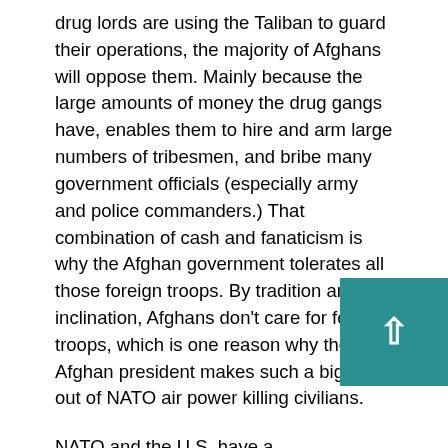drug lords are using the Taliban to guard their operations, the majority of Afghans will oppose them. Mainly because the large amounts of money the drug gangs have, enables them to hire and arm large numbers of tribesmen, and bribe many government officials (especially army and police commanders.) That combination of cash and fanaticism is why the Afghan government tolerates all those foreign troops. By tradition and inclination, Afghans don't care for foreign troops, which is one reason why the Afghan president makes such a big deal out of NATO air power killing civilians.
NATO and the U.S. have a problem with time. Normally, Americans start to get antsy once a war passes the three year mark. Afghanistan has been going on for eight years now, but the casualties have been very low (until 2004, less than one death a week, and that has gradually increased to three